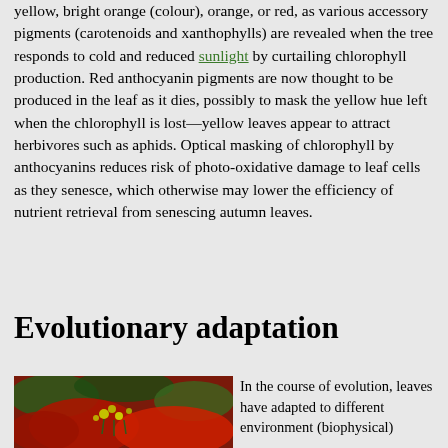yellow, bright orange (colour), orange, or red, as various accessory pigments (carotenoids and xanthophylls) are revealed when the tree responds to cold and reduced sunlight by curtailing chlorophyll production. Red anthocyanin pigments are now thought to be produced in the leaf as it dies, possibly to mask the yellow hue left when the chlorophyll is lost—yellow leaves appear to attract herbivores such as aphids. Optical masking of chlorophyll by anthocyanins reduces risk of photo-oxidative damage to leaf cells as they senesce, which otherwise may lower the efficiency of nutrient retrieval from senescing autumn leaves.
Evolutionary adaptation
[Figure (photo): Close-up photo of colorful plant with red and green leaves and small yellow-green flower clusters]
In the course of evolution, leaves have adapted to different environment (biophysical)